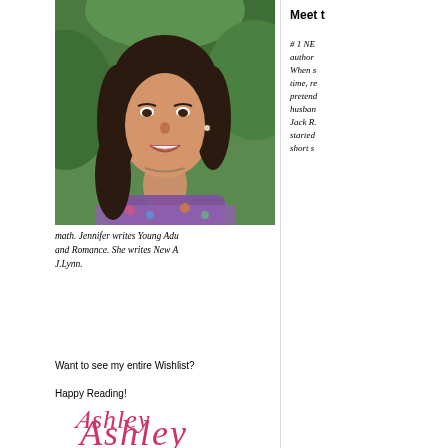[Figure (photo): Author photo: woman with dark wavy hair, smiling, wearing a colorful floral top, photographed outdoors with green foliage background]
Meet t
# 1 NE author When s time, re pretend husban Jack R. started short s math. Jennifer writes Young Adu and Romance. She writes New A J.Lynn.
Want to see my entire Wishlist?
Happy Reading!
Ashley